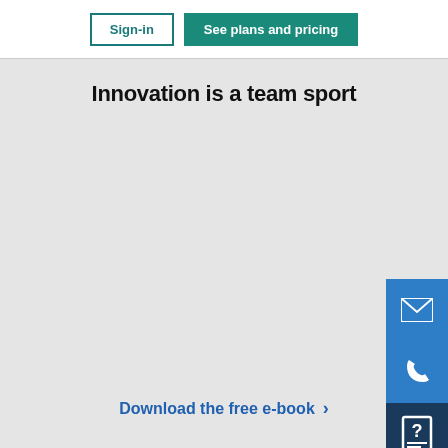Sign-in | See plans and pricing
Innovation is a team sport
[Figure (infographic): Three side contact icons: email envelope (blue), phone (blue), help/question mark book (dark navy)]
Download the free e-book >